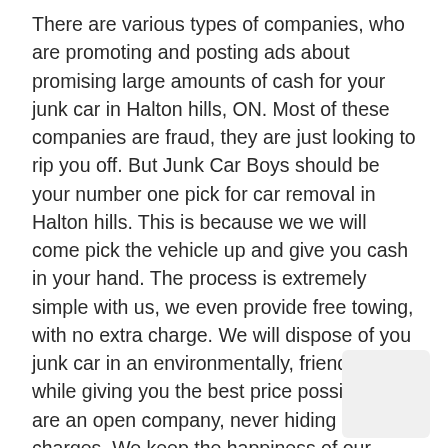There are various types of companies, who are promoting and posting ads about promising large amounts of cash for your junk car in Halton hills, ON. Most of these companies are fraud, they are just looking to rip you off. But Junk Car Boys should be your number one pick for car removal in Halton hills. This is because we we will come pick the vehicle up and give you cash in your hand. The process is extremely simple with us, we even provide free towing, with no extra charge. We will dispose of you junk car in an environmentally, friendly way, while giving you the best price possible. We are an open company, never hiding costs or charges. We keep the happiness of our customers in mind at all times when dealing with them.